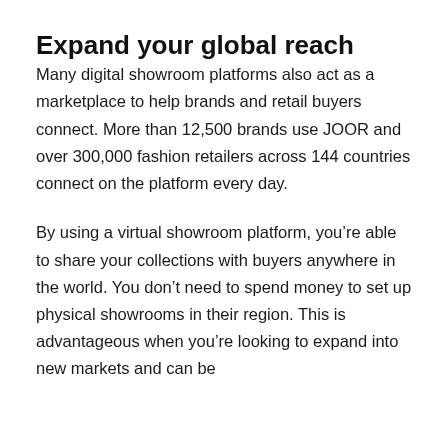Expand your global reach
Many digital showroom platforms also act as a marketplace to help brands and retail buyers connect. More than 12,500 brands use JOOR and over 300,000 fashion retailers across 144 countries connect on the platform every day.
By using a virtual showroom platform, you're able to share your collections with buyers anywhere in the world. You don't need to spend money to set up physical showrooms in their region. This is advantageous when you're looking to expand into new markets and can be